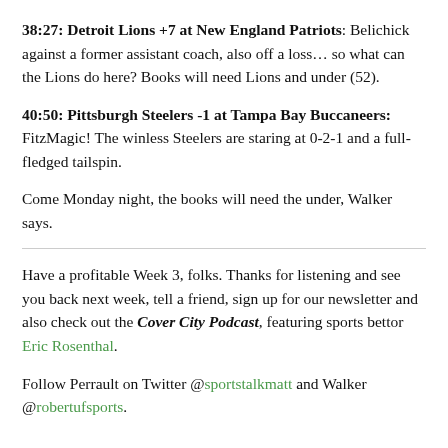38:27: Detroit Lions +7 at New England Patriots: Belichick against a former assistant coach, also off a loss… so what can the Lions do here? Books will need Lions and under (52).
40:50: Pittsburgh Steelers -1 at Tampa Bay Buccaneers: FitzMagic! The winless Steelers are staring at 0-2-1 and a full-fledged tailspin.
Come Monday night, the books will need the under, Walker says.
Have a profitable Week 3, folks. Thanks for listening and see you back next week, tell a friend, sign up for our newsletter and also check out the Cover City Podcast, featuring sports bettor Eric Rosenthal.
Follow Perrault on Twitter @sportstalkmatt and Walker @robertufsports.